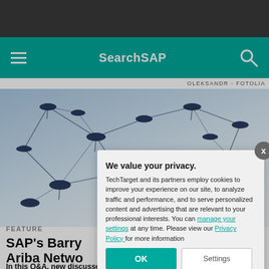SearchSAP
OLEKSANDR - FOTOLIA
[Figure (photo): Network nodes connected by thin lines on a light blue-white gradient background, viewed from above at an angle]
FEATURE
SAP's Barry Ariba Netwo
In this Q&A, new discusses the futu will bring to Ariba
We value your privacy. TechTarget and its partners employ cookies to improve your experience on our site, to analyze traffic and performance, and to serve personalized content and advertising that are relevant to your professional interests. You can manage your settings at any time. Please view our Privacy Policy for more information